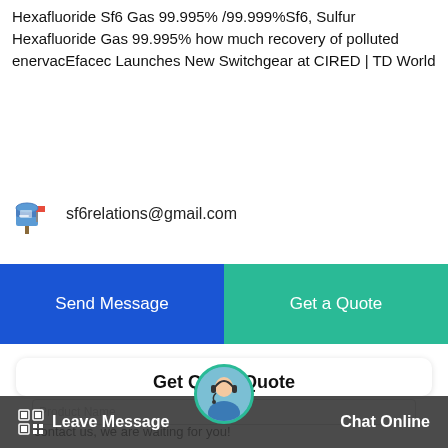Hexafluoride Sf6 Gas 99.995% /99.999%Sf6, Sulfur Hexafluoride Gas 99.995% how much recovery of polluted enervacEfacec Launches New Switchgear at CIRED | TD World
sf6relations@gmail.com
Send Message
Get a Quote
Get Quick Quote
Need more information about our products and prices?Just contact us, we are waiting for you!
Product Name
Leave Message   Chat Online